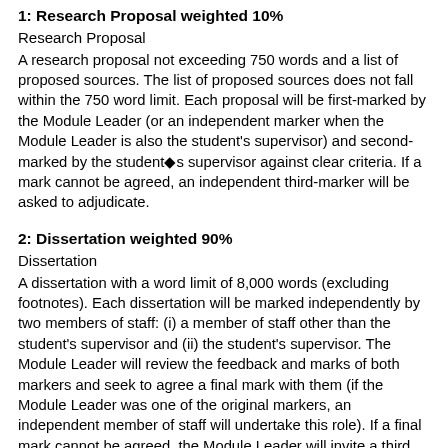1: Research Proposal weighted 10%
Research Proposal
A research proposal not exceeding 750 words and a list of proposed sources. The list of proposed sources does not fall within the 750 word limit. Each proposal will be first-marked by the Module Leader (or an independent marker when the Module Leader is also the student's supervisor) and second-marked by the student�s supervisor against clear criteria. If a mark cannot be agreed, an independent third-marker will be asked to adjudicate.
2: Dissertation weighted 90%
Dissertation
A dissertation with a word limit of 8,000 words (excluding footnotes). Each dissertation will be marked independently by two members of staff: (i) a member of staff other than the student's supervisor and (ii) the student's supervisor. The Module Leader will review the feedback and marks of both markers and seek to agree a final mark with them (if the Module Leader was one of the original markers, an independent member of staff will undertake this role). If a final mark cannot be agreed, the Module Leader will invite a third person to mark the dissertation before deciding upon the final